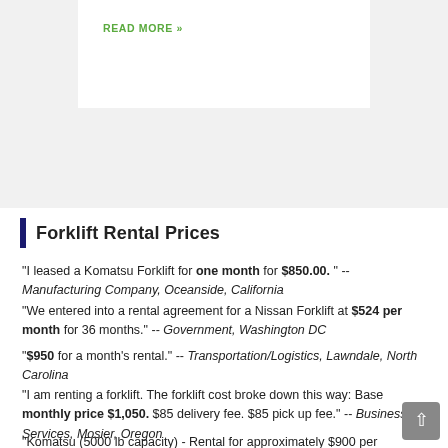READ MORE »
Forklift Rental Prices
"I leased a Komatsu Forklift for one month for $850.00. " -- Manufacturing Company, Oceanside, California
"We entered into a rental agreement for a Nissan Forklift at $524 per month for 36 months." -- Government, Washington DC
"$950 for a month's rental." -- Transportation/Logistics, Lawndale, North Carolina
"I am renting a forklift. The forklift cost broke down this way: Base monthly price $1,050. $85 delivery fee. $85 pick up fee." -- Business Services, Mosier, Oregon
"Komatsu (5000 lb capacity) - Rental for approximately $900 per